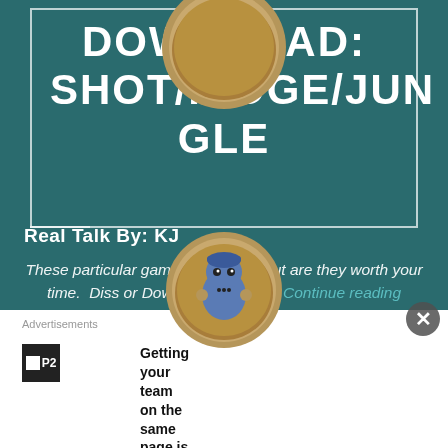DOWNLOAD: SHOT/RIDGE/JUNGLE
Real Talk By: KJ
These particular games are “free”, but are they worth your time.  Diss or Download boots up. Continue reading
Advertisements
Getting your team on the same page is easy. And free.